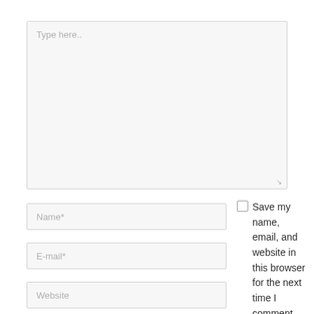Type here..
Name*
E-mail*
Website
Save my name, email, and website in this browser for the next time I comment